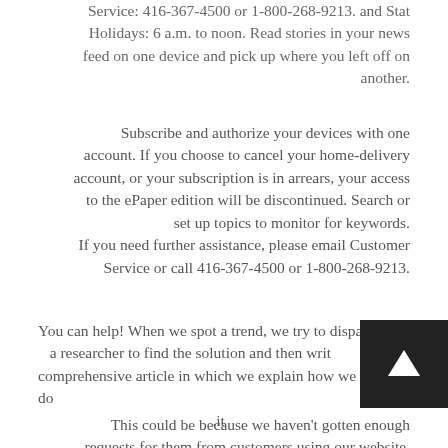Service: 416-367-4500 or 1-800-268-9213. and Stat Holidays: 6 a.m. to noon. Read stories in your news feed on one device and pick up where you left off on another.
Subscribe and authorize your devices with one account. If you choose to cancel your home-delivery account, or your subscription is in arrears, your access to the ePaper edition will be discontinued. Search or set up topics to monitor for keywords. If you need further assistance, please email Customer Service or call 416-367-4500 or 1-800-268-9213.
You can help! When we spot a trend, we try to dispatch a researcher to find the solution and then write a comprehensive article in which we explain how we do it.
This could be because we haven't gotten enough requests for them from customers using our website.